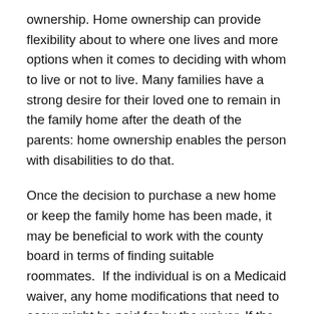ownership. Home ownership can provide flexibility about to where one lives and more options when it comes to deciding with whom to live or not to live. Many families have a strong desire for their loved one to remain in the family home after the death of the parents: home ownership enables the person with disabilities to do that.
Once the decision to purchase a new home or keep the family home has been made, it may be beneficial to work with the county board in terms of finding suitable roommates. If the individual is on a Medicaid waiver, any home modifications that need to occur might be paid for by the waiver. If the family does not care about the ownership of the home after the person with a disability passes away and want to avoid having to maintain the home, they may want to